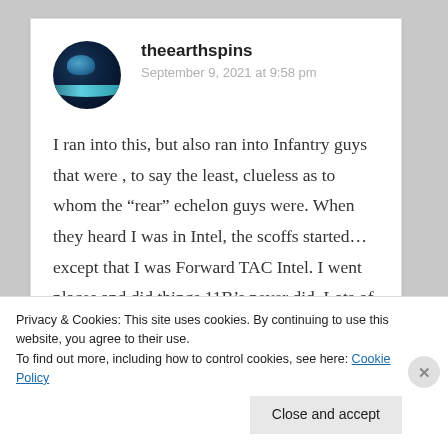theearthspins
September 9, 2021 at 9:58 pm
I ran into this, but also ran into Infantry guys that were , to say the least, clueless as to whom the “rear” echelon guys were. When they heard I was in Intel, the scoffs started…except that I was Forward TAC Intel. I went places and did things 11B’s never did, Lots of Prick 77’s, C-Rat/MRE’s,
Privacy & Cookies: This site uses cookies. By continuing to use this website, you agree to their use.
To find out more, including how to control cookies, see here: Cookie Policy
Close and accept